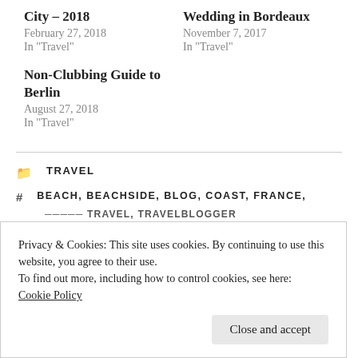City – 2018
February 27, 2018
In "Travel"
Wedding in Bordeaux
November 7, 2017
In "Travel"
Non-Clubbing Guide to Berlin
August 27, 2018
In "Travel"
TRAVEL
BEACH, BEACHSIDE, BLOG, COAST, FRANCE,
Privacy & Cookies: This site uses cookies. By continuing to use this website, you agree to their use.
To find out more, including how to control cookies, see here:
Cookie Policy
Close and accept